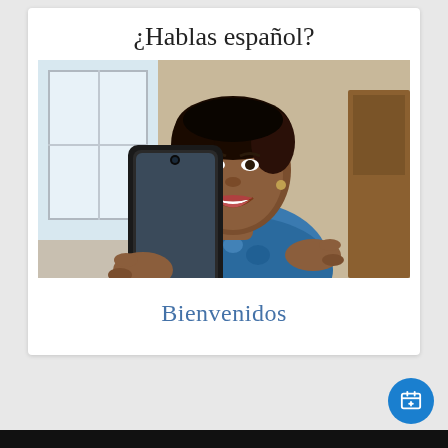¿Hablas español?
[Figure (photo): A smiling middle-aged woman holding a smartphone, wearing a blue patterned top, photographed indoors]
Bienvenidos